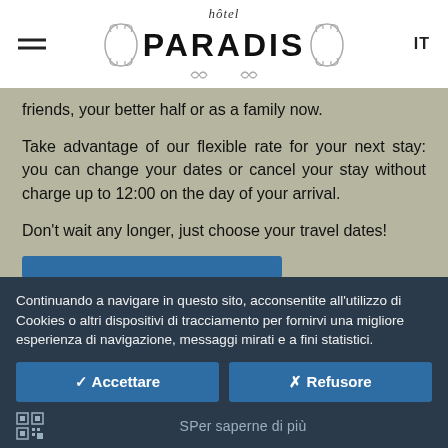hôtel PARADIS  IT
friends, your better half or as a family now.
Take advantage of our flexible rate for your next stay: you can change your dates or cancel your stay without charge up to 12:00 on the day of your arrival.
Don't wait any longer, just choose your travel dates!
Continuando a navigare in questo sito, acconsentite all'utilizzo di Cookies o altri dispositivi di tracciamento per fornirvi una migliore esperienza di navigazione, messaggi mirati e a fini statistici.
✓ Accettare
✗ Refusore
SPer saperne di più